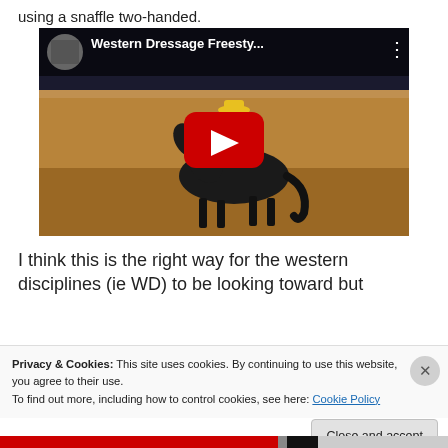using a snaffle two-handed.
[Figure (screenshot): YouTube video embed showing a Western Dressage Freestyle performance. A rider in a yellow shirt on a dark horse in an indoor arena. The video title reads 'Western Dressage Freesty...' with a red YouTube play button overlay.]
I think this is the right way for the western disciplines (ie WD) to be looking toward but
Privacy & Cookies: This site uses cookies. By continuing to use this website, you agree to their use.
To find out more, including how to control cookies, see here: Cookie Policy
Close and accept